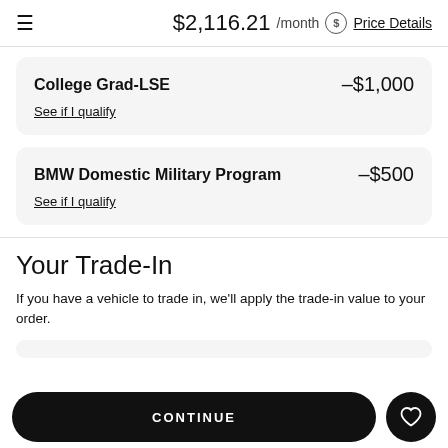$2,116.21 /month ⓢ Price Details
College Grad-LSE  –$1,000
See if I qualify
BMW Domestic Military Program  –$500
See if I qualify
Your Trade-In
If you have a vehicle to trade in, we'll apply the trade-in value to your order.
CONTINUE